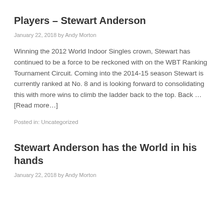Players – Stewart Anderson
January 22, 2018 by Andy Morton
Winning the 2012 World Indoor Singles crown, Stewart has continued to be a force to be reckoned with on the WBT Ranking Tournament Circuit. Coming into the 2014-15 season Stewart is currently ranked at No. 8 and is looking forward to consolidating this with more wins to climb the ladder back to the top. Back … [Read more…]
Posted in: Uncategorized
Stewart Anderson has the World in his hands
January 22, 2018 by Andy Morton